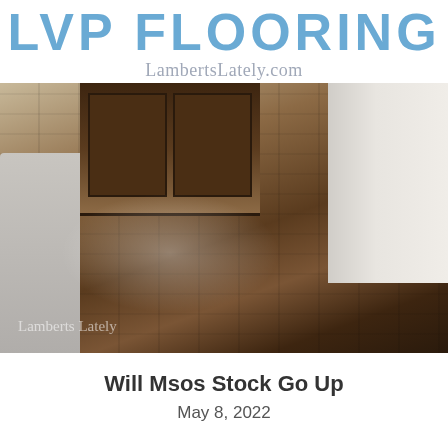LVP FLOORING
LambertLately.com
[Figure (photo): Interior room photo showing dark wood LVP flooring with a light reflection in the center. A dark wood cabinet/door is visible in the background, white baseboard trim on the right, and a white appliance partially visible on the left.]
Will Msos Stock Go Up
May 8, 2022